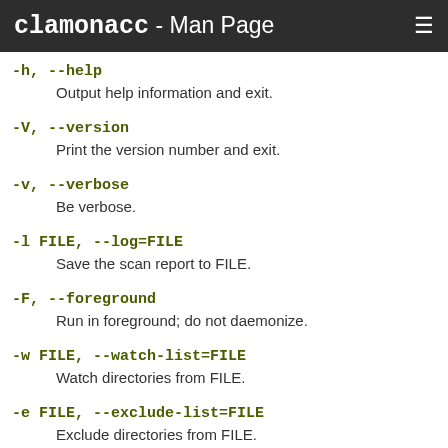clamonacc - Man Page
-h, --help
    Output help information and exit.
-V, --version
    Print the version number and exit.
-v, --verbose
    Be verbose.
-l FILE, --log=FILE
    Save the scan report to FILE.
-F, --foreground
    Run in foreground; do not daemonize.
-w FILE, --watch-list=FILE
    Watch directories from FILE.
-e FILE, --exclude-list=FILE
    Exclude directories from FILE.
-p A[,I], --ping A[,I]